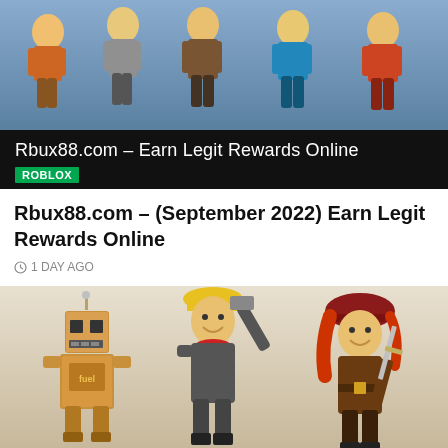[Figure (photo): Banner image showing Roblox toy figurines on a dark background with text 'Rbux88.com – Earn Legit Rewards Online' and a green 'ROBLOX' tag]
Rbux88.com – (September 2022) Earn Legit Rewards Online
1 DAY AGO
[Figure (photo): Roblox toy figurines including a cardboard robot, a construction worker with yellow hard hat, and a pirate character with red hair and sword]